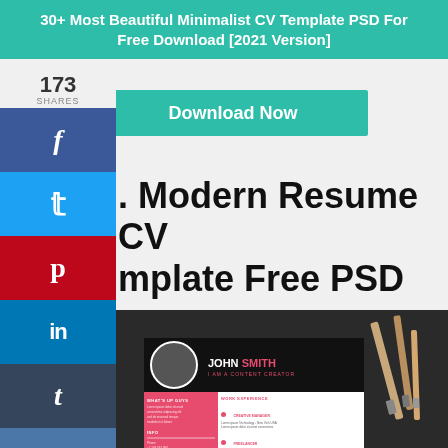30+ Most Beautiful Minimalist CV Template PSD For Free Download [2021 Version]
173
SHARES
Download Now
. Modern Resume CV Template Free PSD
[Figure (screenshot): Preview of a modern resume CV template for John Smith - Content Creator, with pink/magenta left sidebar, black header, and white content area showing work experience and education sections. Tools/brushes visible in background on dark surface.]